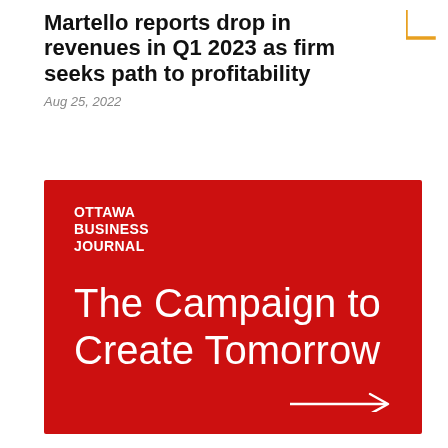Martello reports drop in revenues in Q1 2023 as firm seeks path to profitability
Aug 25, 2022
[Figure (illustration): Ottawa Business Journal advertisement banner on red background with white text reading 'OTTAWA BUSINESS JOURNAL' logo and 'The Campaign to Create Tomorrow' headline, with a white arrow graphic in the bottom right corner.]